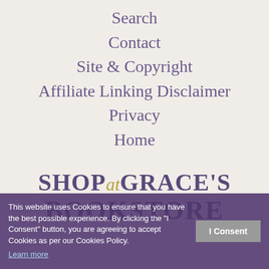Search
Contact
Site & Copyright
Affiliate Linking Disclaimer
Privacy
Home
[Figure (logo): Shop at Grace's Bookstore logo with purple bold text and gold italic 'at']
This website uses Cookies to ensure that you have the best possible experience. By clicking the "I Consent" button, you are agreeing to accept Cookies as per our Cookies Policy. Learn more